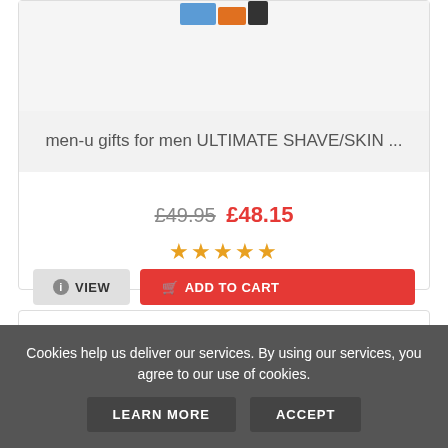[Figure (photo): Partial product image at top of first card, showing colored strips/swatches]
men-u gifts for men ULTIMATE SHAVE/SKIN ...
£49.95 £48.15
[Figure (other): Five gold star rating]
VIEW
ADD TO CART
[Figure (photo): men-u shave facial trio product box, dark packaging]
Cookies help us deliver our services. By using our services, you agree to our use of cookies.
LEARN MORE
ACCEPT